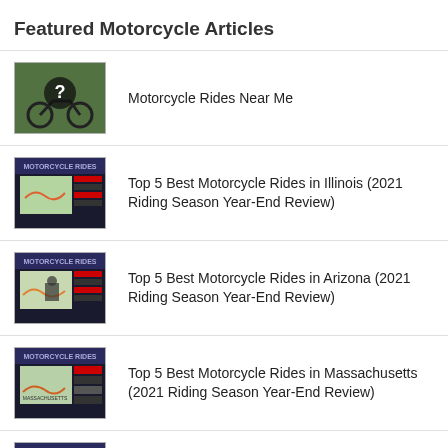Featured Motorcycle Articles
Motorcycle Rides Near Me
Top 5 Best Motorcycle Rides in Illinois (2021 Riding Season Year-End Review)
Top 5 Best Motorcycle Rides in Arizona (2021 Riding Season Year-End Review)
Top 5 Best Motorcycle Rides in Massachusetts (2021 Riding Season Year-End Review)
Top 5 Best Motorcycle Rides in